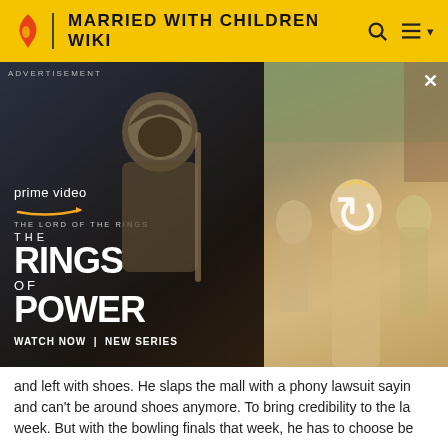MARRIED WITH CHILDREN WIKI
[Figure (screenshot): Amazon Prime Video advertisement for The Lord of the Rings: The Rings of Power. Left side shows dark fantasy artwork with hooded figure, Prime Video logo, show title and 'WATCH NOW | NEW SERIES'. Right side shows a refresh/reload icon over a scene with blonde woman and people in background.]
and left with shoes. He slaps the mall with a phony lawsuit sayin and can't be around shoes anymore. To bring credibility to the la week. But with the bowling finals that week, he has to choose be
|  |  | Title | Director | Writer |
| --- | --- | --- | --- | --- |
| 209 | 26 | "The Undergraduate" | Amanda Bearse | Fran E. Kaufer |
Kelly gets a secret admirer who sends food, perfumes and flowe this. He (Robby Bennett) turns out to be a 12-year-old, who wan The boy turns up to be son of the guy who owns the jeans comp sneaks in as the DJ and plays slow songs to avenge his firing, bu